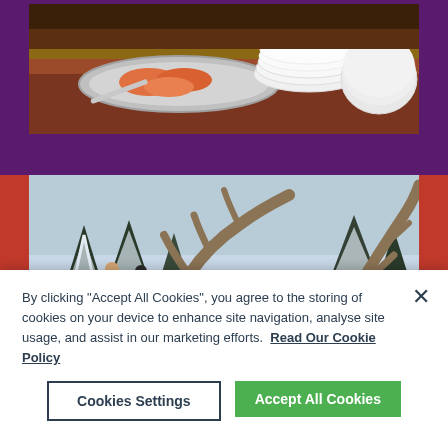[Figure (photo): Close-up photo of food on a silver serving tray (appears to be prawns or shrimp) with white stacked plates on a dining table]
[Figure (photo): Winter outdoor scene in a snowy forest with snow-covered pine trees, a reindeer with large antlers in the foreground, and people in winter clothing in the background]
By clicking "Accept All Cookies", you agree to the storing of cookies on your device to enhance site navigation, analyse site usage, and assist in our marketing efforts.  Read Our Cookie Policy
Cookies Settings
Accept All Cookies